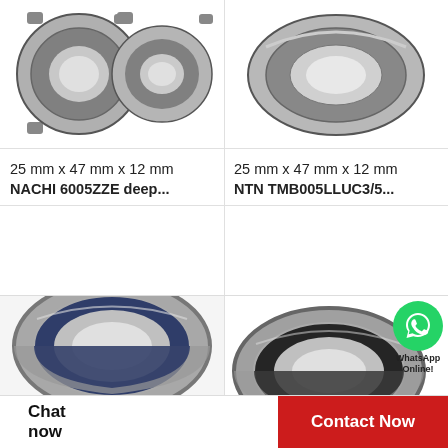[Figure (photo): Two gray metallic deep groove ball bearings (NACHI 6005ZZE), top-down/angled view, white background, showing the inner ring slot and outer ring]
[Figure (photo): Single gray metallic deep groove ball bearing (NTN TMB005LLUC3/5), angled view from above, white background]
25 mm x 47 mm x 12 mm NACHI 6005ZZE deep...
25 mm x 47 mm x 12 mm NTN TMB005LLUC3/5...
[Figure (photo): Large single deep groove ball bearing with blue rubber seal on one side, angled/perspective view, gray metallic body, white background]
[Figure (photo): Large single deep groove ball bearing with black rubber seal, angled/perspective view, gray metallic body, with WhatsApp Online overlay icon in green circle, white background]
WhatsApp Online
Chat now   Contact Now